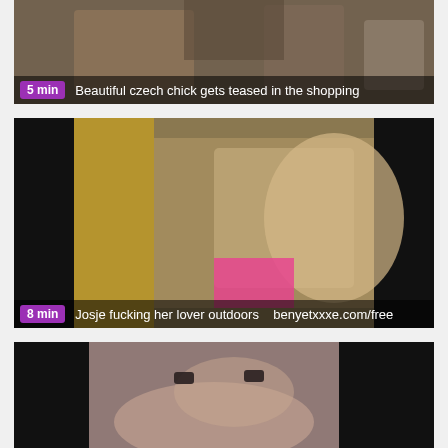[Figure (photo): Video thumbnail showing indoor scene, duration badge '5 min', title 'Beautiful czech chick gets teased in the shopping']
[Figure (photo): Video thumbnail showing outdoor scene with woman in pink bikini top on grass, duration badge '8 min', title 'Josje fucking her lover outdoors']
[Figure (photo): Video thumbnail showing close-up face scene, partially visible]